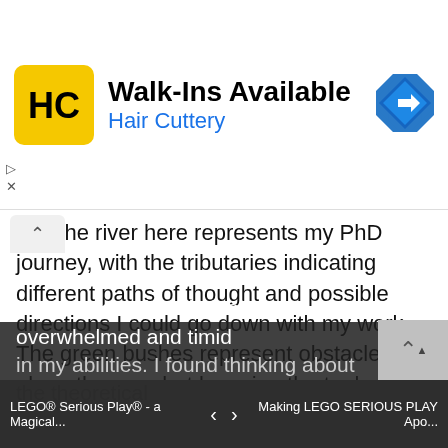[Figure (screenshot): Hair Cuttery advertisement banner with logo and navigation icon showing 'Walk-Ins Available' and 'Hair Cuttery' text]
es. The river here represents my PhD journey, with the tributaries indicating different paths of thought and possible directions I could go down with my work. The green bushes represent obstacles along the way, but by using the tools and skills I am developing (shown by ladders and bridges), I will hopefully be able to navigate my way through. I used the animals to represent different feelings throughout my journey; elephant – plodding away slowly at my research during difficult times, tiger – determination and passion for my subject, horse – a sense of urgency that comes in spits and spats, kitten – occasionally feeling overwhelmed and timid in my abilities. I found thinking about the theoretical
LEGO® Serious Play® - a Magical...    ‹  ›    Making LEGO SERIOUS PLAY Apo...